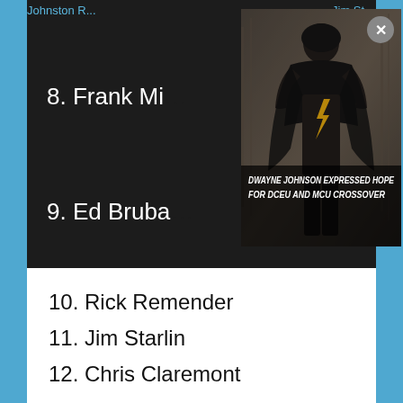8. Frank Mi…
9. Ed Bruba…
[Figure (photo): Dwayne Johnson in Black Adam costume with overlay text 'DWAYNE JOHNSON EXPRESSED HOPE FOR DCEU AND MCU CROSSOVER'. Has a close X button.]
10. Rick Remender
11. Jim Starlin
12. Chris Claremont
13. Scott Snyder
14. Bryan Lee O'Malley
15. Robert Kirkman